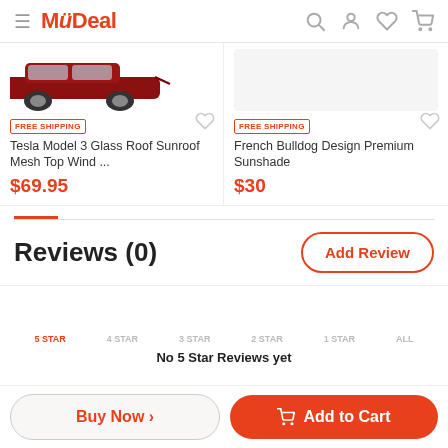MyDeal
[Figure (screenshot): Partial product image of Tesla car (red/dark) with wheel visible, top of product card]
FREE SHIPPING
Tesla Model 3 Glass Roof Sunroof Mesh Top Wind ...
$69.95
FREE SHIPPING
French Bulldog Design Premium Sunshade
$30
Reviews (0)
5 STAR   4 STAR   3 STAR   2 STAR   1 STAR   ALL
No 5 Star Reviews yet